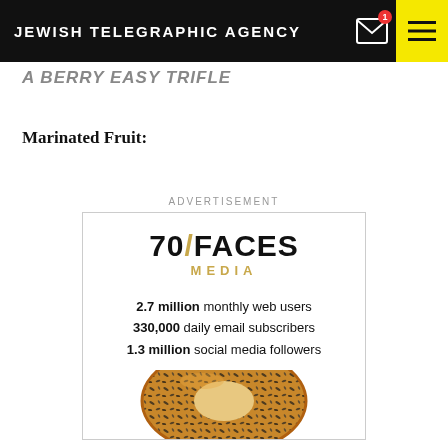JEWISH TELEGRAPHIC AGENCY
A BERRY EASY TRIFLE
Marinated Fruit:
ADVERTISEMENT
[Figure (infographic): 70/FACES MEDIA advertisement showing: 2.7 million monthly web users, 330,000 daily email subscribers, 1.3 million social media followers, with a bagel image at bottom.]